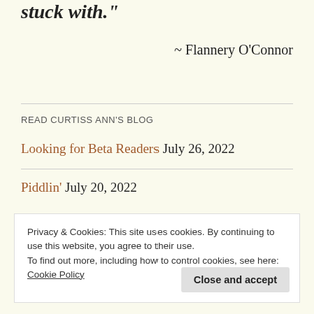stuck with.”
~ Flannery O’Connor
READ CURTISS ANN’S BLOG
Looking for Beta Readers July 26, 2022
Piddlin’ July 20, 2022
Privacy & Cookies: This site uses cookies. By continuing to use this website, you agree to their use.
To find out more, including how to control cookies, see here: Cookie Policy
Close and accept